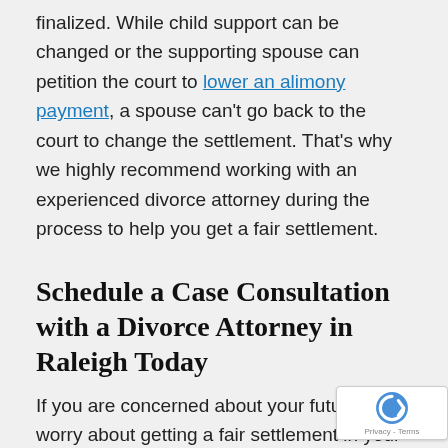finalized. While child support can be changed or the supporting spouse can petition the court to lower an alimony payment, a spouse can't go back to the court to change the settlement. That's why we highly recommend working with an experienced divorce attorney during the process to help you get a fair settlement.
Schedule a Case Consultation with a Divorce Attorney in Raleigh Today
If you are concerned about your future and worry about getting a fair settlement in your divorce, don't try to navigate this alone. Schedule a consultation with one of our experienced attorneys to discuss your options, including property division and alimony